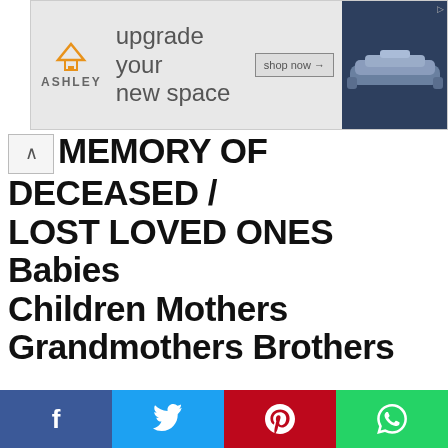[Figure (photo): Ashley Furniture advertisement banner with logo, 'upgrade your new space' text, shop now button, and sofa image]
MEMORY OF DECEASED / LOST LOVED ONES Babies Children Mothers Grandmothers Brothers
[Figure (photo): Photo grid of memorial tattoo images: angel wings with cross rosary (large left), mother with children tattoo (top middle), script heartbeat tattoo (top right), dove tattoo (bottom middle), skeletal hand tattoo with +3 badge and menu icon (bottom right). Share button on top-left of grid.]
[Figure (infographic): Social media share bar with Facebook (blue), Twitter (light blue), Pinterest (red), WhatsApp (green) buttons at bottom]